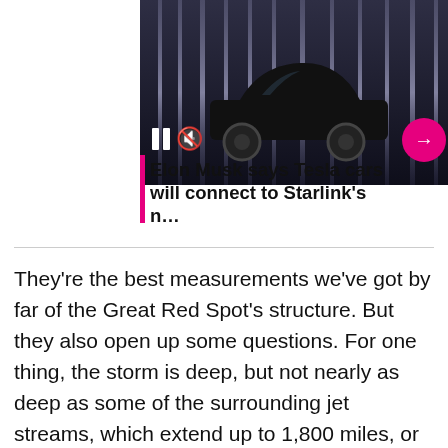[Figure (photo): A dark image showing a Tesla car silhouette in a tunnel-like environment with vertical light strips, pause and mute icons on the lower left, and a pink circular arrow button on the lower right.]
Elon Musk says Tesla cars will connect to Starlink's n…
They're the best measurements we've got by far of the Great Red Spot's structure. But they also open up some questions. For one thing, the storm is deep, but not nearly as deep as some of the surrounding jet streams, which extend up to 1,800 miles, or 3,000 kilometers, into the planet. Juno also helped to pinpoint those measurements, and scientists aren't sure why there's a discrepancy